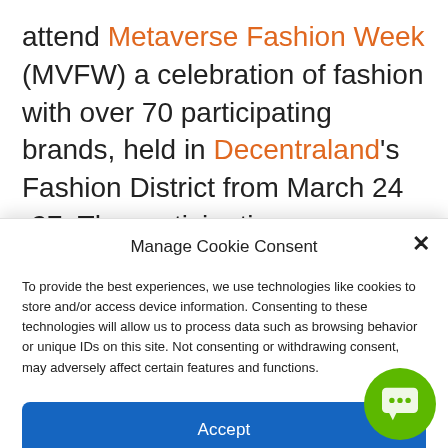attend Metaverse Fashion Week (MVFW) a celebration of fashion with over 70 participating brands, held in Decentraland's Fashion District from March 24 -27. The participating companies
Manage Cookie Consent
To provide the best experiences, we use technologies like cookies to store and/or access device information. Consenting to these technologies will allow us to process data such as browsing behavior or unique IDs on this site. Not consenting or withdrawing consent, may adversely affect certain features and functions.
Accept
Cookie Policy   Privacy Statement